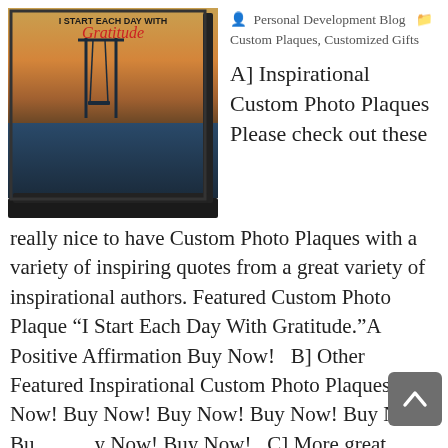[Figure (photo): A custom photo plaque displaying 'I Start Each Day With Gratitude' text over a sunset/beach scene with a swing set silhouette, shown on a black easel stand.]
Personal Development Blog  Custom Plaques, Customized Gifts
A] Inspirational Custom Photo Plaques Please check out these really nice to have Custom Photo Plaques with a variety of inspiring quotes from a great variety of inspirational authors. Featured Custom Photo Plaque “I Start Each Day With Gratitude.”A Positive Affirmation Buy Now!   B] Other Featured Inspirational Custom Photo Plaques Buy Now! Buy Now! Buy Now! Buy Now! Buy Now! Buy Now! Buy Now! Buy Now!   C] More great Inspirational Custom Photo Plaques Click on…